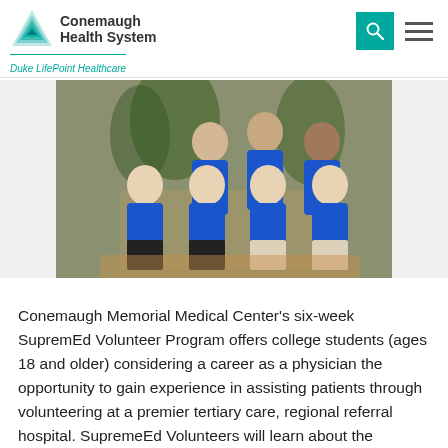Conemaugh Health System | Duke LifePoint Healthcare
[Figure (photo): Group photo of seven people wearing blue medical volunteer jackets, seated and standing in two rows in a hospital lobby setting.]
Conemaugh Memorial Medical Center's six-week SupremEd Volunteer Program offers college students (ages 18 and older) considering a career as a physician the opportunity to gain experience in assisting patients through volunteering at a premier tertiary care, regional referral hospital. SupremeEd Volunteers will learn about the educational journey of becoming a physician from current medical students, residents, and physicians.